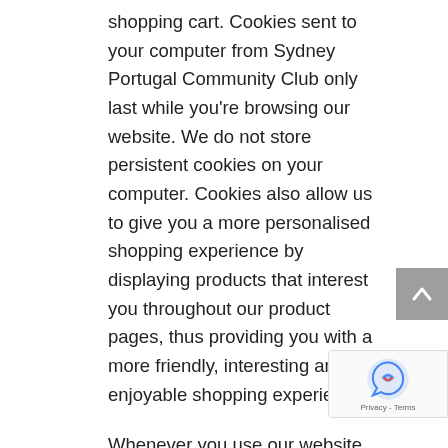shopping cart. Cookies sent to your computer from Sydney Portugal Community Club only last while you're browsing our website. We do not store persistent cookies on your computer. Cookies also allow us to give you a more personalised shopping experience by displaying products that interest you throughout our product pages, thus providing you with a more friendly, interesting and enjoyable shopping experience.
Whenever you use our website, or any other website, the computer on which the web pages are stored (the Web server) needs to know the network address of your computer so that it can send the requested web pages to your Internet browser. The unique network address of your computer is called its “IP address,” and is sent automatically each time you access any Internet site. From a computer’s IP address, it is possible to determine the general geographic location of that computer, but otherwise it is anonymous